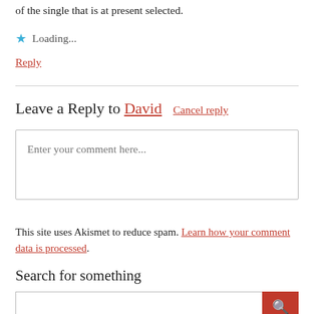of the single that is at present selected.
★ Loading...
Reply
Leave a Reply to David  Cancel reply
Enter your comment here...
This site uses Akismet to reduce spam. Learn how your comment data is processed.
Search for something